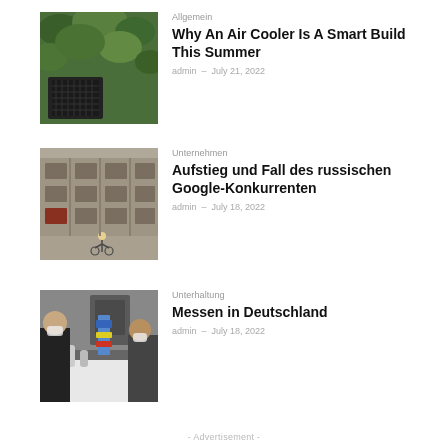[Figure (photo): Air cooler unit against leafy green foliage background]
Allgemein
Why An Air Cooler Is A Smart Build This Summer
admin – July 21, 2022
[Figure (photo): Person on bicycle in front of a large stone building facade]
Unternehmen
Aufstieg und Fall des russischen Google-Konkurrenten
admin – July 18, 2022
[Figure (photo): People at a trade fair exhibition with equipment displays]
Unterhaltung
Messen in Deutschland
admin – July 18, 2022
- Advertisement -